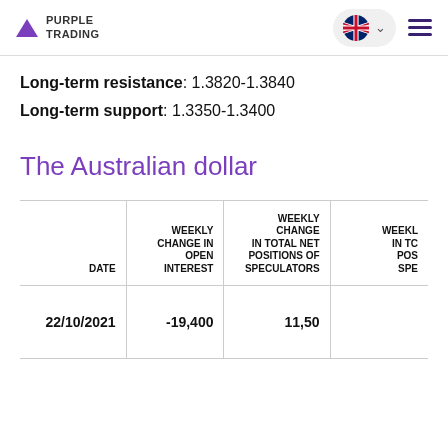Purple Trading
Long-term resistance: 1.3820-1.3840
Long-term support: 1.3350-1.3400
The Australian dollar
| DATE | WEEKLY CHANGE IN OPEN INTEREST | WEEKLY CHANGE IN TOTAL NET POSITIONS OF SPECULATORS | WEEKLY CHANGE IN TOTAL NET POSITIONS OF SPECULATORS (cut off) |
| --- | --- | --- | --- |
| 22/10/2021 | -19,400 | 11,50… |  |